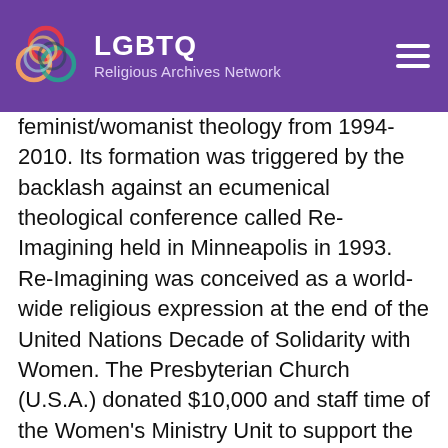LGBTQ Religious Archives Network
feminist/womanist theology from 1994-2010. Its formation was triggered by the backlash against an ecumenical theological conference called Re-Imagining held in Minneapolis in 1993. Re-Imagining was conceived as a world-wide religious expression at the end of the United Nations Decade of Solidarity with Women. The Presbyterian Church (U.S.A.) donated $10,000 and staff time of the Women's Ministry Unit to support the conference. The $10,000 was allocated to help bring Christian feminist theologians from outside the United States to Re-Imagining. Many Presbyterians attended the conference, and critics warned against its message that feminists could push the boundaries of orthodoxy and still be Christian. Immense criticism was heaped upon